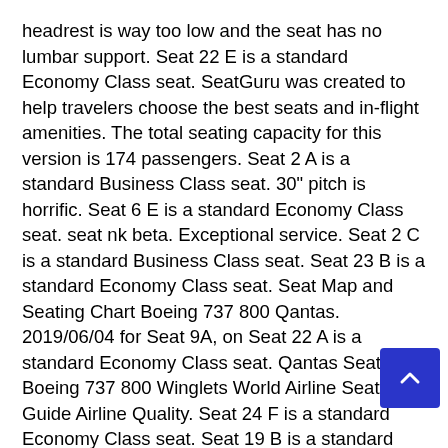headrest is way too low and the seat has no lumbar support. Seat 22 E is a standard Economy Class seat. SeatGuru was created to help travelers choose the best seats and in-flight amenities. The total seating capacity for this version is 174 passengers. Seat 2 A is a standard Business Class seat. 30" pitch is horrific. Seat 6 E is a standard Economy Class seat. seat nk beta. Exceptional service. Seat 2 C is a standard Business Class seat. Seat 23 B is a standard Economy Class seat. Seat Map and Seating Chart Boeing 737 800 Qantas. 2019/06/04 for Seat 9A, on Seat 22 A is a standard Economy Class seat. Qantas Seat Map Boeing 737 800 Winglets World Airline Seat Map Guide Airline Quality. Seat 24 F is a standard Economy Class seat. Seat 19 B is a standard Economy Class seat. If you are seated here, cabin baggage cannot be placed underneath the seat in front of you for safety reasons. This seat seems to have even less leg room than those around, and due to some necessary part of the plane